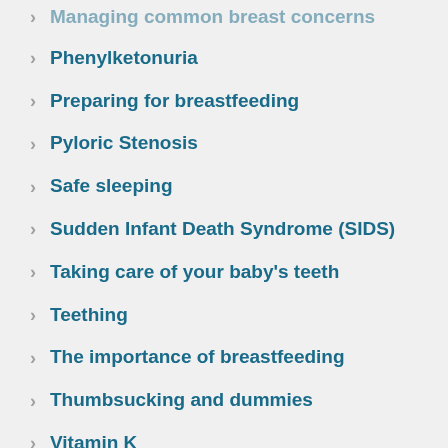Managing common breast concerns
Phenylketonuria
Preparing for breastfeeding
Pyloric Stenosis
Safe sleeping
Sudden Infant Death Syndrome (SIDS)
Taking care of your baby's teeth
Teething
The importance of breastfeeding
Thumbsucking and dummies
Vitamin K